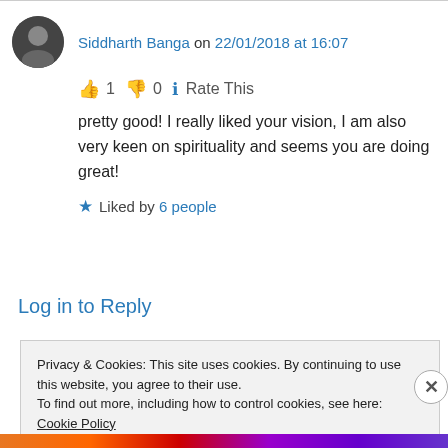Siddharth Banga on 22/01/2018 at 16:07
👍 1 👎 0 ℹ Rate This
pretty good! I really liked your vision, I am also very keen on spirituality and seems you are doing great!
★ Liked by 6 people
Log in to Reply
Privacy & Cookies: This site uses cookies. By continuing to use this website, you agree to their use.
To find out more, including how to control cookies, see here: Cookie Policy
Close and accept